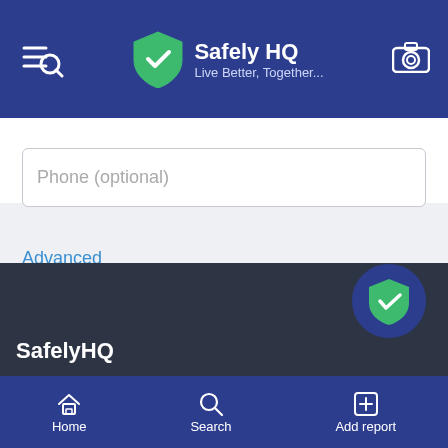Safely HQ — Live Better, Together...
Phone (optional)
Advanced
Sign up
SafelyHQ
Home | Search | Add report